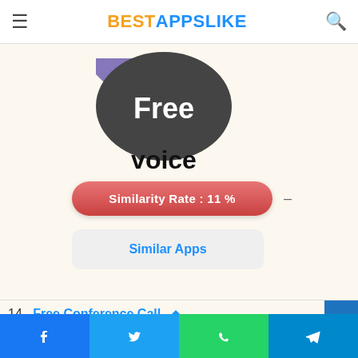BESTAPPSLIKE
[Figure (logo): FreeVoice app logo: a dark speech bubble with 'Free' text inside and 'voice' text below, with a purple arrow-like shape behind it]
Similarity Rate : 11 %
Similar Apps
14. Free Conference Call
FreeConferenceCall.com makes it easy to host HD voice conference calls with video
Facebook Twitter WhatsApp Telegram